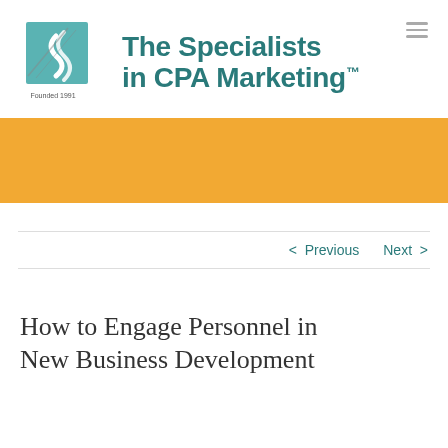[Figure (logo): The Specialists in CPA Marketing logo with teal square icon and 'Founded 1991' text beneath, alongside bold teal text reading 'The Specialists in CPA Marketing™']
[Figure (photo): Golden/amber orange banner image spanning full width]
< Previous   Next >
How to Engage Personnel in New Business Development